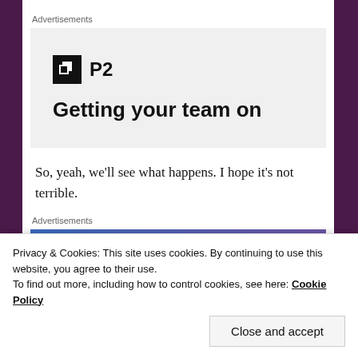Advertisements
[Figure (advertisement): P2 logo with icon and bold text 'Getting your team on']
So, yeah, we'll see what happens. I hope it's not terrible.
Advertisements
[Figure (advertisement): Blue-purple gradient banner with italic text 'Simplified pricing for']
Privacy & Cookies: This site uses cookies. By continuing to use this website, you agree to their use.
To find out more, including how to control cookies, see here: Cookie Policy